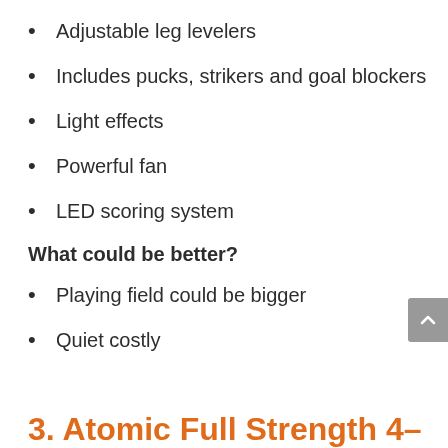Adjustable leg levelers
Includes pucks, strikers and goal blockers
Light effects
Powerful fan
LED scoring system
What could be better?
Playing field could be bigger
Quiet costly
3. Atomic Full Strength 4–